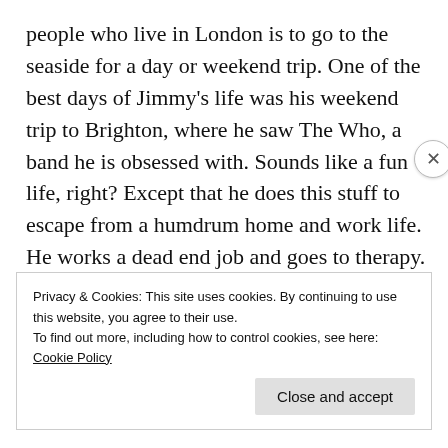people who live in London is to go to the seaside for a day or weekend trip. One of the best days of Jimmy's life was his weekend trip to Brighton, where he saw The Who, a band he is obsessed with. Sounds like a fun life, right? Except that he does this stuff to escape from a humdrum home and work life. He works a dead end job and goes to therapy. He doesn't feel accepted by anyone: not his family, nor his friends or crush. After quitting his job, he goes to Brighton to reminisce about the good times only to find out that the coolest mod, Ace
Privacy & Cookies: This site uses cookies. By continuing to use this website, you agree to their use.
To find out more, including how to control cookies, see here: Cookie Policy
Close and accept